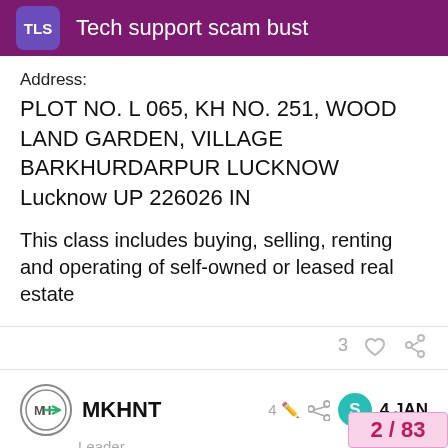Tech support scam bust
Address:
PLOT NO. L 065, KH NO. 251, WOOD LAND GARDEN, VILLAGE BARKHURDARPUR LUCKNOW Lucknow UP 226026 IN
This class includes buying, selling, renting and operating of self-owned or leased real estate
3
MKHNT
Leader
4 JAN
Interesting that some of those websites d… recent research in the iSecuremart / iSof…
2 / 83